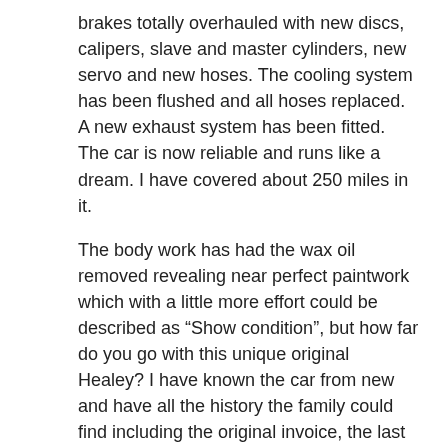brakes totally overhauled with new discs, calipers, slave and master cylinders, new servo and new hoses. The cooling system has been flushed and all hoses replaced. A new exhaust system has been fitted. The car is now reliable and runs like a dream. I have covered about 250 miles in it.
The body work has had the wax oil removed revealing near perfect paintwork which with a little more effort could be described as “Show condition”, but how far do you go with this unique original Healey? I have known the car from new and have all the history the family could find including the original invoice, the last MOT and invoice, the original Driver’s handbook, service voucher wallet and a workshop manual. I also have all the bills for my recent expenditure and have obtained a Heritage Certificate. Current mileage is 29328.
Contact Seller